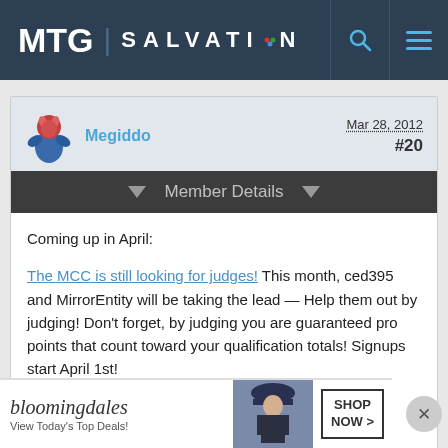MTG SALVATION
Megiddo
Mar 28, 2012  #20
Member Details
Coming up in April:
The MCC is still looking for judges! This month, ced395 and MirrorEntity will be taking the lead — Help them out by judging! Don't forget, by judging you are guaranteed pro points that count toward your qualification totals! Signups start April 1st!
The CCL is still taking signups! Limited time offer!
[Figure (screenshot): Bloomingdale's advertisement banner with fashion image and SHOP NOW button]